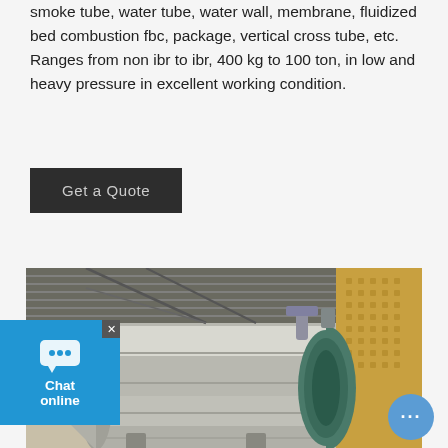We deal in all types of used steam boilers such as smoke tube, water tube, water wall, membrane, fluidized bed combustion fbc, package, vertical cross tube, etc. Ranges from non ibr to ibr, 400 kg to 100 ton, in low and heavy pressure in excellent working condition.
[Figure (other): Button with dark background reading 'Get a Quote']
[Figure (photo): Industrial steam boiler stored horizontally inside a warehouse/facility. The boiler is a large cylindrical metallic vessel. Background shows corrugated roof, yellow insulation material on the right side.]